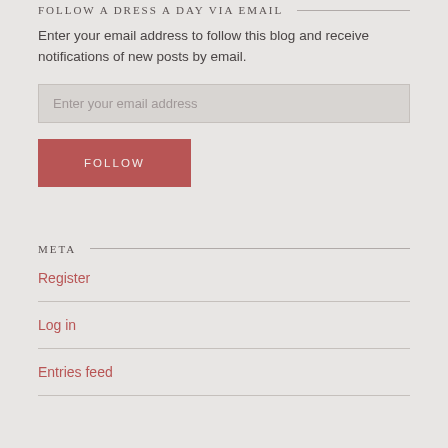FOLLOW A DRESS A DAY VIA EMAIL
Enter your email address to follow this blog and receive notifications of new posts by email.
Enter your email address
FOLLOW
META
Register
Log in
Entries feed